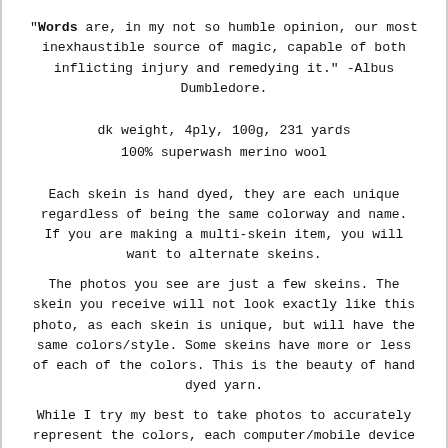"Words are, in my not so humble opinion, our most inexhaustible source of magic, capable of both inflicting injury and remedying it." -Albus Dumbledore.
dk weight, 4ply, 100g, 231 yards
100% superwash merino wool
Each skein is hand dyed, they are each unique regardless of being the same colorway and name. If you are making a multi-skein item, you will want to alternate skeins.
The photos you see are just a few skeins. The skein you receive will not look exactly like this photo, as each skein is unique, but will have the same colors/style. Some skeins have more or less of each of the colors. This is the beauty of hand dyed yarn.
While I try my best to take photos to accurately represent the colors, each computer/mobile device varies in colors, if you have questions about